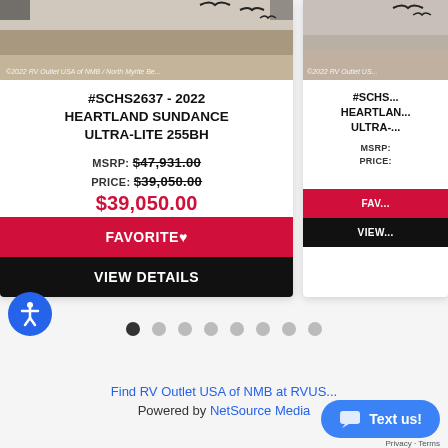[Figure (photo): RV photo with watermark '©2022 RV Outlet USA of NMB / North Myrtle Be...']
#SCHS2637 - 2022 HEARTLAND SUNDANCE ULTRA-LITE 255BH
MSRP: $47,931.00
PRICE: $39,050.00
$39,050.00 (partially visible sale price)
FAVORITE ♥
VIEW DETAILS
[Figure (photo): RV photo with watermark '©2022 RV Outlet US...' (partially cropped)]
#SCHS... HEARTLAN... ULTRA-... (partially visible)
MSRP:
PRICE:
FAV... (partially visible Favorite button)
VIEW... (partially visible View Details button)
Find RV Outlet USA of NMB at RVUS...
Powered by NetSource Media
Text us!